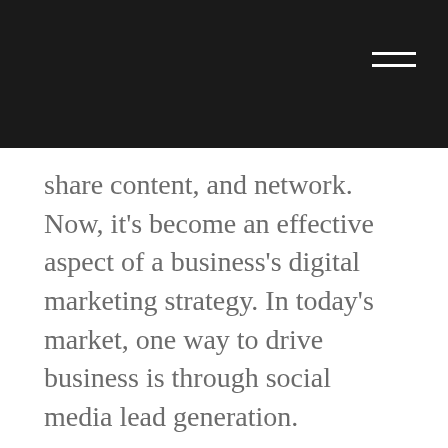share content, and network. Now, it's become an effective aspect of a business's digital marketing strategy. In today's market, one way to drive business is through social media lead generation.
Currently, there are nearly 4 billion people with active social media accounts. That's a huge pool of potential customers, so it makes sense that businesses should tap...